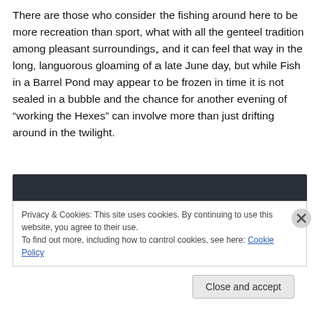There are those who consider the fishing around here to be more recreation than sport, what with all the genteel tradition among pleasant surroundings, and it can feel that way in the long, languorous gloaming of a late June day, but while Fish in a Barrel Pond may appear to be frozen in time it is not sealed in a bubble and the chance for another evening of “working the Hexes” can involve more than just drifting around in the twilight.
[Figure (photo): Dark photo strip at top of image panel]
Privacy & Cookies: This site uses cookies. By continuing to use this website, you agree to their use.
To find out more, including how to control cookies, see here: Cookie Policy